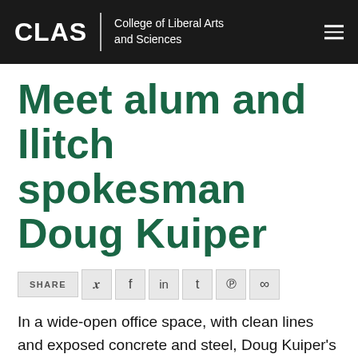CLAS | College of Liberal Arts and Sciences
Meet alum and Ilitch spokesman Doug Kuiper
SHARE
In a wide-open office space, with clean lines and exposed concrete and steel, Doug Kuiper's phone would not stop ringing. It was a Friday afternoon, and the world had woken that morning to the news that the greatest man to